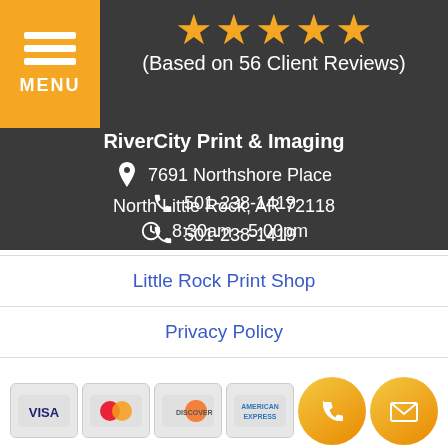[Figure (infographic): Hamburger menu icon with three orange horizontal lines and MENU label on orange background]
[Figure (infographic): Five gold/orange star rating icons]
(Based on 56 Client Reviews)
RiverCity Print & Imaging
7691 Northshore Place
North Little Rock, AR 72118
501-238-1419
8:30am - 5:00pm
Little Rock Print Shop
Privacy Policy
Terms of Service
Contact Us
[Figure (infographic): Payment card logos: Visa, Mastercard, Discover, American Express, plus phone and email circular buttons]